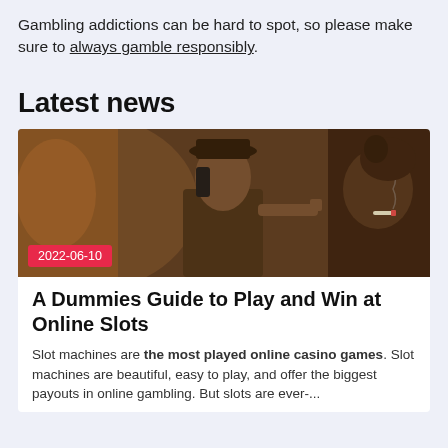Gambling addictions can be hard to spot, so please make sure to always gamble responsibly.
Latest news
[Figure (photo): A dramatic sepia-toned photo of a man in a hat talking on a telephone while pointing his finger, with another person smoking a cigarette visible at the right edge.]
2022-06-10
A Dummies Guide to Play and Win at Online Slots
Slot machines are the most played online casino games. Slot machines are beautiful, easy to play, and offer the biggest payouts in online gambling. But slots are ever-...